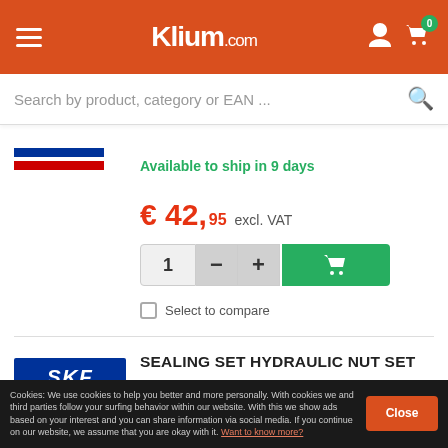Klium.com
Search by product, category or EAN ...
Available to ship in 9 days
€ 42,95 excl. VAT
Select to compare
SEALING SET HYDRAULIC NUT SET
SKF HMV 17/233983
Cookies: We use cookies to help you better and more personally. With cookies we and third parties follow your surfing behavior within our website. With this we show ads based on your interest and you can share information via social media. If you continue on our website, we assume that you are okay with it. Want to know more?